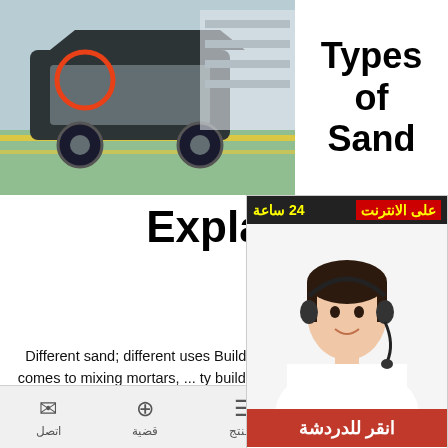[Figure (photo): Industrial machinery/crusher equipment in a factory setting with yellow safety markings, red circle highlight on part]
Types of Sand
Explained | | Blog Hill
[Figure (screenshot): Live chat popup overlay with Arabic text header showing '24 ساعة على الانترنت' (Online 24 hours), photo of female customer service agent wearing headset, and red chat button with Arabic text 'انقر للدردشة' (Click to chat)]
Different sand; different uses Building ... al component when it comes to mixing mortars, ... ty building sand is absolutely crucial as part of th... ge Mix with cement and water to make bricklaying... th 25kg and bulk bag options, you can buy our building sand hereNov 27, 2019· The Echo Plus offers "more powerful" and "clearer" sound with stronger bass, Amazon said It also features a temperature sensor, so it
الصفحة الرئيسية  المنتج  قضية  اتصل